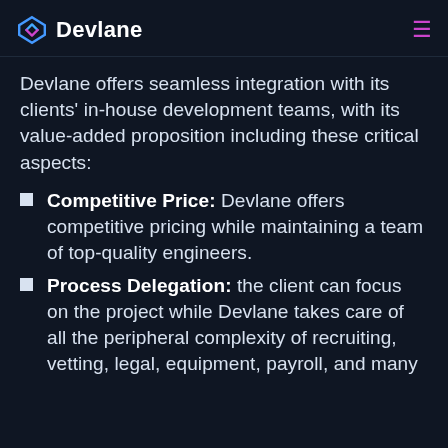Devlane
Devlane offers seamless integration with its clients' in-house development teams, with its value-added proposition including these critical aspects:
Competitive Price: Devlane offers competitive pricing while maintaining a team of top-quality engineers.
Process Delegation: the client can focus on the project while Devlane takes care of all the peripheral complexity of recruiting, vetting, legal, equipment, payroll, and many